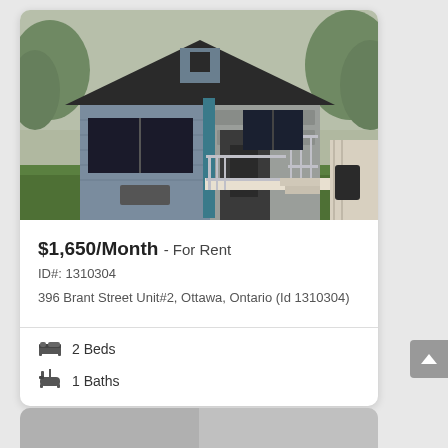[Figure (photo): Exterior photo of a grey bungalow-style house with a black roof, front porch with white railing, green lawn, and trees in the background.]
$1,650/Month - For Rent
ID#: 1310304
396 Brant Street Unit#2, Ottawa, Ontario (Id 1310304)
2 Beds
1 Baths